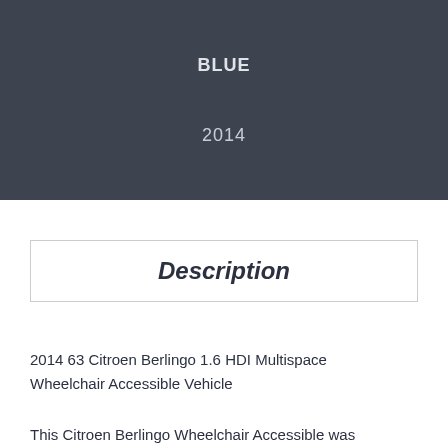BLUE
2014
Description
2014 63 Citroen Berlingo 1.6 HDI Multispace Wheelchair Accessible Vehicle
This Citroen Berlingo Wheelchair Accessible was